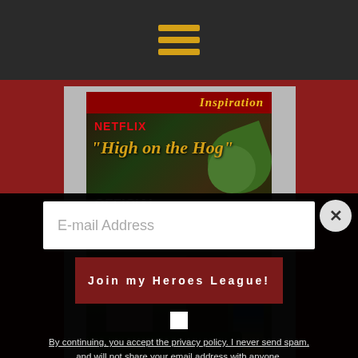[Figure (screenshot): Dark navigation bar with hamburger menu icon (three horizontal golden/yellow lines)]
[Figure (screenshot): Website screenshot showing a Netflix 'High on the Hog' official trailer thumbnail composed of two parts: top section shows Netflix branding and yellow italic title text over dark background with OFFICIAL TRAILER text; bottom section shows a market scene photo with two people among green vegetables. Red banner at top reads 'Inspiration' in italic yellow. Website URL www.aficionecolta.com visible at bottom.]
E-mail Address
Join my Heroes League!
By continuing, you accept the privacy policy. I never send spam, and will not share your email address with anyone.